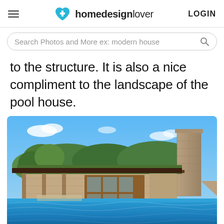homedesignlover LOGIN
Search Photos and More ex: modern house
to the structure. It is also a nice compliment to the landscape of the pool house.
[Figure (photo): Exterior photo of a pool house with large swimming pool in the foreground, stone chimney on the right, green roof, wooden window frames, and trees in the background under a blue sky.]